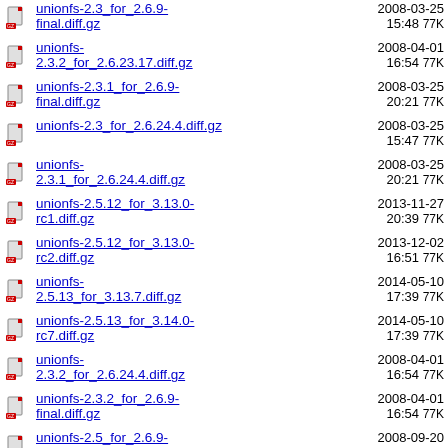unionfs-2.3_for_2.6.9-final.diff.gz  2008-03-25 15:48  77K
unionfs-2.3.2_for_2.6.23.17.diff.gz  2008-04-01 16:54  77K
unionfs-2.3.1_for_2.6.9-final.diff.gz  2008-03-25 20:21  77K
unionfs-2.3_for_2.6.24.4.diff.gz  2008-03-25 15:47  77K
unionfs-2.3.1_for_2.6.24.4.diff.gz  2008-03-25 20:21  77K
unionfs-2.5.12_for_3.13.0-rc1.diff.gz  2013-11-27 20:39  77K
unionfs-2.5.12_for_3.13.0-rc2.diff.gz  2013-12-02 16:51  77K
unionfs-2.5.13_for_3.13.7.diff.gz  2014-05-10 17:39  77K
unionfs-2.5.13_for_3.14.0-rc7.diff.gz  2014-05-10 17:39  77K
unionfs-2.3.2_for_2.6.24.4.diff.gz  2008-04-01 16:54  77K
unionfs-2.3.2_for_2.6.9-final.diff.gz  2008-04-01 16:54  77K
unionfs-2.5_for_2.6.9-  2008-09-20  77K